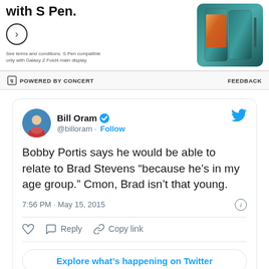[Figure (screenshot): Advertisement for Samsung Galaxy Z Fold4 with S Pen showing phone image]
POWERED BY CONCERT   FEEDBACK
[Figure (screenshot): Embedded tweet from Bill Oram (@billoram) with verified badge and Twitter bird logo. Tweet text: Bobby Portis says he would be able to relate to Brad Stevens because he's in my age group. Cmon, Brad isn't that young. Posted 7:56 PM · May 15, 2015. Actions: heart, Reply, Copy link. Button: Explore what's happening on Twitter]